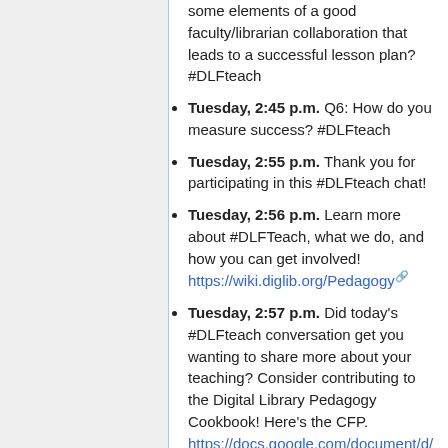some elements of a good faculty/librarian collaboration that leads to a successful lesson plan? #DLFteach
Tuesday, 2:45 p.m. Q6: How do you measure success? #DLFteach
Tuesday, 2:55 p.m. Thank you for participating in this #DLFteach chat!
Tuesday, 2:56 p.m. Learn more about #DLFTeach, what we do, and how you can get involved! https://wiki.diglib.org/Pedagogy
Tuesday, 2:57 p.m. Did today's #DLFteach conversation get you wanting to share more about your teaching? Consider contributing to the Digital Library Pedagogy Cookbook! Here's the CFP. https://docs.google.com/document/d/1ZXM52sb5CGkmRmNiGRt2m33Yfg